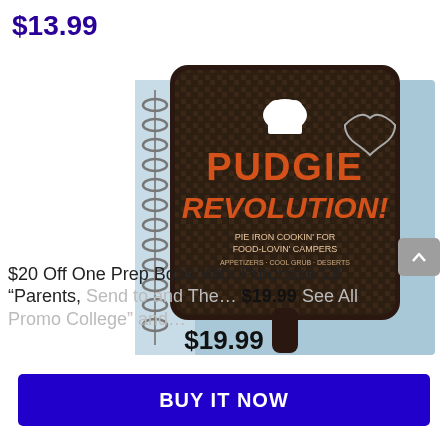$13.99
[Figure (photo): Pudgie Revolution book on spiral notebook - pie iron cookin' for food-lovin' campers]
$20 Off One Prep Book With Purchase Of “Parents, Send To and The… See All Promo College” and…
$19.99
BUY IT NOW